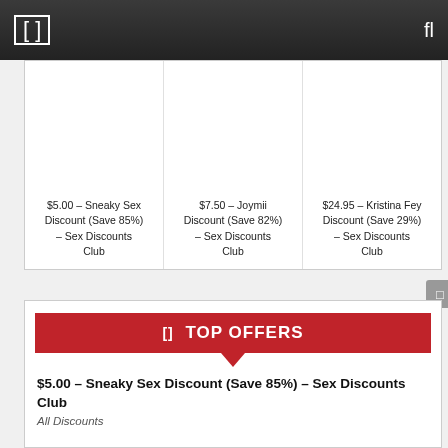[ fl
$5.00 – Sneaky Sex Discount (Save 85%) – Sex Discounts Club
$7.50 – Joymii Discount (Save 82%) – Sex Discounts Club
$24.95 – Kristina Fey Discount (Save 29%) – Sex Discounts Club
TOP OFFERS
$5.00 – Sneaky Sex Discount (Save 85%) – Sex Discounts Club
All Discounts